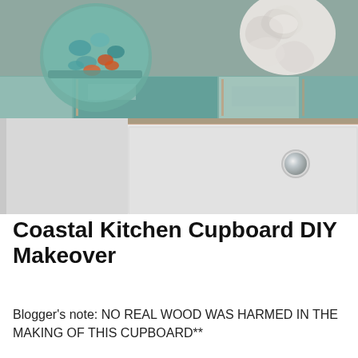[Figure (photo): Close-up photo of a coastal-style kitchen cupboard DIY makeover. The top of a white painted dresser/cupboard is shown with a distressed patchwork wood top painted in shades of teal, mint, and white with visible wood grain and wear. On the top sit a glass jar filled with blue and orange sea glass, and a white rope knot decoration. A silver round drawer knob is visible on the white drawer front.]
Coastal Kitchen Cupboard DIY Makeover
Blogger's note: NO REAL WOOD WAS HARMED IN THE MAKING OF THIS CUPBOARD**